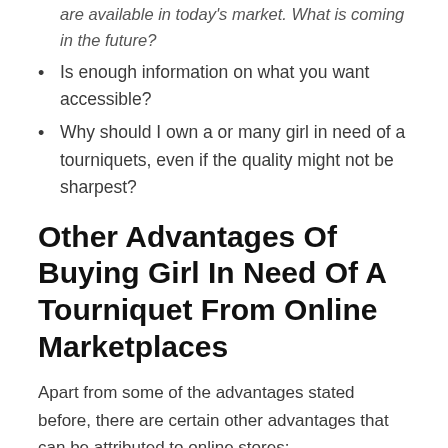are available in today's market. What is coming in the future?
Is enough information on what you want accessible?
Why should I own a or many girl in need of a tourniquets, even if the quality might not be sharpest?
Other Advantages Of Buying Girl In Need Of A Tourniquet From Online Marketplaces
Apart from some of the advantages stated before, there are certain other advantages that can be attributed to online stores:
Promotions
There are a lot of promotional prices and discounts on online stores. In fact, there are more promos on online shops than there are in retail shops.  As these stores work simultaneously with multiple dealers at a time, a customer is able to avail a certain